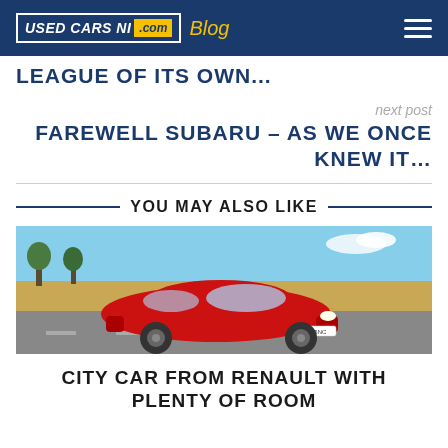USED CARS NI .com Blog
LEAGUE OF ITS OWN...
next post
FAREWELL SUBARU – AS WE ONCE KNEW IT...
YOU MAY ALSO LIKE
[Figure (photo): Red Renault Clio city car driving on a road with countryside background]
CITY CAR FROM RENAULT WITH PLENTY OF ROOM